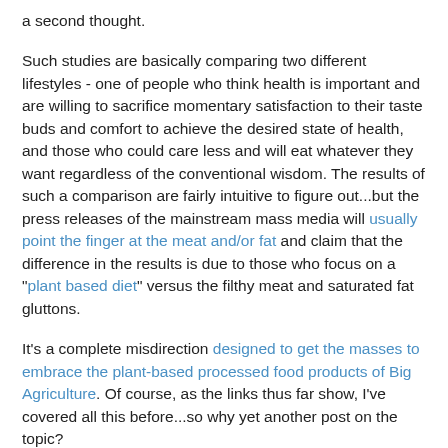a second thought.
Such studies are basically comparing two different lifestyles - one of people who think health is important and are willing to sacrifice momentary satisfaction to their taste buds and comfort to achieve the desired state of health, and those who could care less and will eat whatever they want regardless of the conventional wisdom. The results of such a comparison are fairly intuitive to figure out...but the press releases of the mainstream mass media will usually point the finger at the meat and/or fat and claim that the difference in the results is due to those who focus on a "plant based diet" versus the filthy meat and saturated fat gluttons.
It's a complete misdirection designed to get the masses to embrace the plant-based processed food products of Big Agriculture. Of course, as the links thus far show, I've covered all this before...so why yet another post on the topic?
Because I'd also like to highlight other tactics employed by the sources behind such deceptive press releases: those